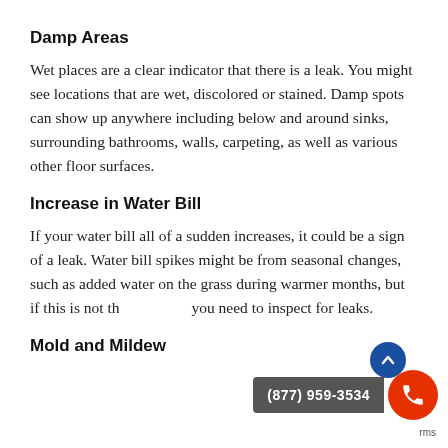Damp Areas
Wet places are a clear indicator that there is a leak. You might see locations that are wet, discolored or stained. Damp spots can show up anywhere including below and around sinks, surrounding bathrooms, walls, carpeting, as well as various other floor surfaces.
Increase in Water Bill
If your water bill all of a sudden increases, it could be a sign of a leak. Water bill spikes might be from seasonal changes, such as added water on the grass during warmer months, but if this is not the situation, you need to inspect for leaks.
Mold and Mildew